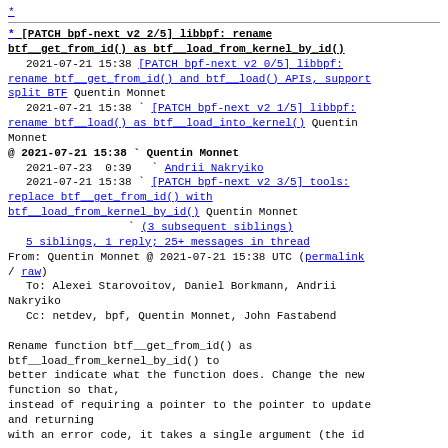*
* [PATCH bpf-next v2 2/5] libbpf: rename btf__get_from_id() as btf__load_from_kernel_by_id()
   2021-07-21 15:38 [PATCH bpf-next v2 0/5] libbpf: rename btf__get_from_id() and btf__load() APIs, support split BTF Quentin Monnet
   2021-07-21 15:38 ` [PATCH bpf-next v2 1/5] libbpf: rename btf__load() as btf__load_into_kernel() Quentin Monnet
@ 2021-07-21 15:38 ` Quentin Monnet
   2021-07-23  0:39   ` Andrii Nakryiko
   2021-07-21 15:38 ` [PATCH bpf-next v2 3/5] tools: replace btf__get_from_id() with btf__load_from_kernel_by_id() Quentin Monnet
                     ` (3 subsequent siblings)
  5 siblings, 1 reply; 25+ messages in thread
From: Quentin Monnet @ 2021-07-21 15:38 UTC (permalink / raw)
   To: Alexei Starovoitov, Daniel Borkmann, Andrii Nakryiko
   Cc: netdev, bpf, Quentin Monnet, John Fastabend

Rename function btf__get_from_id() as btf__load_from_kernel_by_id() to better indicate what the function does. Change the new function so that, instead of requiring a pointer to the pointer to update and returning with an error code, it takes a single argument (the id